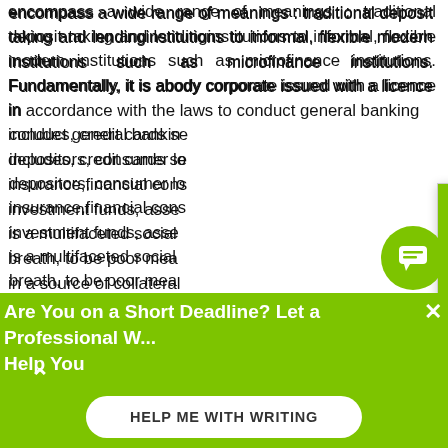encompass a wide range of meanings : traditional deposit taking and lendinginstitutions to informal, flexible modern institutions such as microfinance institutions. Fundamentally, it is abody corporate issued with a licence in accordance with the laws to conduct general banking business. It also includes, credit cards services to the depositors, consumer loans, mortgages, insurance,financial consultancy services, investment funds, asset management. Poverty is a multifaceted social problem. To say, in a breath, to be poor means to not having in a source of collateral that can be used to obtain loans. This further means inability to start a business or education, and therefore trapped in wage employment, subsistence inter alia. It is a situation where the bulk of a population is at most able to meet only itsba
[Figure (screenshot): Chat popup with green header showing avatar of woman and 'Hi! I'm Mia!' text, with body text 'Don't know how to start your paper? Worry no more! Get professional writing assistance from me.' and 'Check it out' link]
Are You on a Short Deadline? Let a Professional W... Help You
HELP ME WITH WRITING